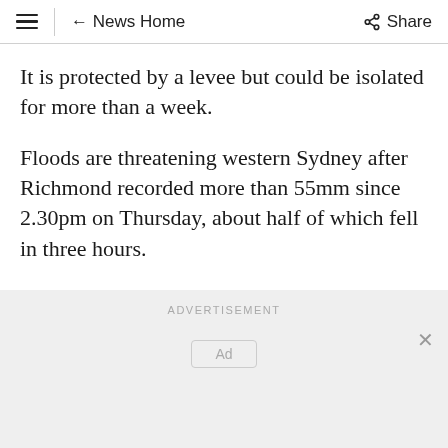≡ ← News Home   Share
It is protected by a levee but could be isolated for more than a week.
Floods are threatening western Sydney after Richmond recorded more than 55mm since 2.30pm on Thursday, about half of which fell in three hours.
ADVERTISEMENT
[Figure (other): Advertisement placeholder box with 'Ad' label and close button (×)]